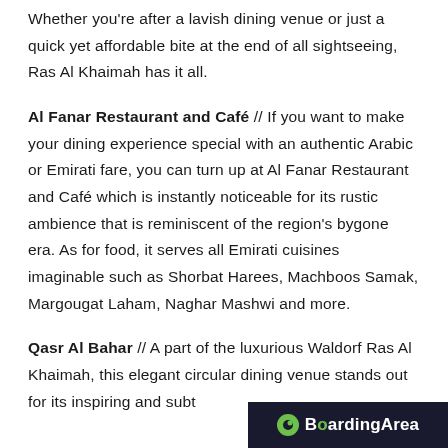Whether you're after a lavish dining venue or just a quick yet affordable bite at the end of all sightseeing, Ras Al Khaimah has it all.
Al Fanar Restaurant and Café // If you want to make your dining experience special with an authentic Arabic or Emirati fare, you can turn up at Al Fanar Restaurant and Café which is instantly noticeable for its rustic ambience that is reminiscent of the region's bygone era. As for food, it serves all Emirati cuisines imaginable such as Shorbat Harees, Machboos Samak, Margougat Laham, Naghar Mashwi and more.
Qasr Al Bahar // A part of the luxurious Waldorf Ras Al Khaimah, this elegant circular dining venue stands out for its inspiring and subt…
[Figure (logo): BoardingArea logo - dark navy background with green dot icon and white text]